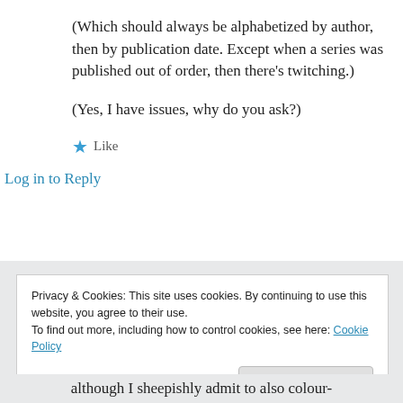(Which should always be alphabetized by author, then by publication date. Except when a series was published out of order, then there’s twitching.)
(Yes, I have issues, why do you ask?)
★ Like
Log in to Reply
Privacy & Cookies: This site uses cookies. By continuing to use this website, you agree to their use.
To find out more, including how to control cookies, see here: Cookie Policy
Close and accept
although I sheepishly admit to also colour-